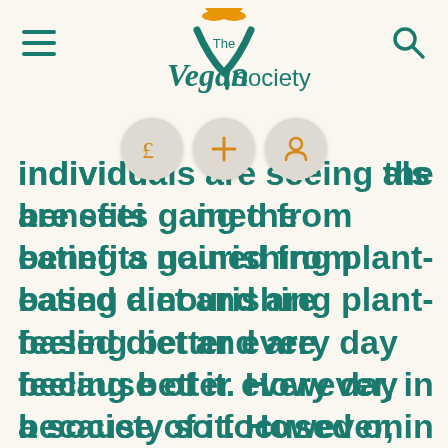The Vegan Society
[Figure (logo): The Vegan Society logo with orange lotus flower and teal text]
individuals are seeing the benefits gained from eating a nourishing plant-based diet and are feeling better every day because of it. However, in a society so focused on healthy-eating and the pressure to live an active lifestyle, it may come to the mind